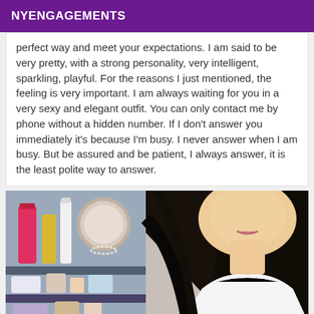NYENGAGEMENTS
perfect way and meet your expectations. I am said to be very pretty, with a strong personality, very intelligent, sparkling, playful. For the reasons I just mentioned, the feeling is very important. I am always waiting for you in a very sexy and elegant outfit. You can only contact me by phone without a hidden number. If I don't answer you immediately it's because I'm busy. I never answer when I am busy. But be assured and be patient, I always answer, it is the least polite way to answer.
[Figure (photo): Photo of a young woman with long dark hair, wearing a white top, standing in front of a dresser/vanity with various beauty products, a mirror in the background]